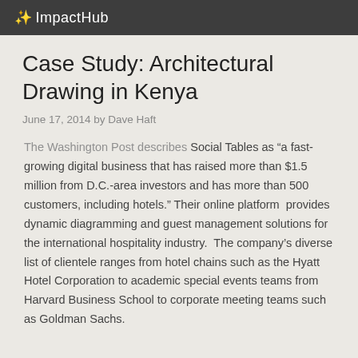ImpactHub
Case Study: Architectural Drawing in Kenya
June 17, 2014 by Dave Haft
The Washington Post describes Social Tables as “a fast-growing digital business that has raised more than $1.5 million from D.C.-area investors and has more than 500 customers, including hotels.” Their online platform provides dynamic diagramming and guest management solutions for the international hospitality industry. The company’s diverse list of clientele ranges from hotel chains such as the Hyatt Hotel Corporation to academic special events teams from Harvard Business School to corporate meeting teams such as Goldman Sachs.